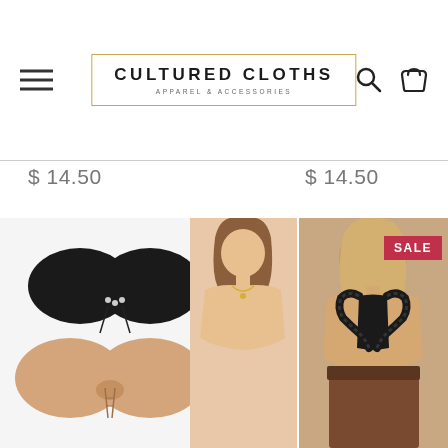[Figure (logo): Cultured Cloths logo with gold border rectangle, brand name and tagline 'APPAREL & ACCESSORIES']
$ 14.50
$ 14.50
[Figure (photo): Product photo of adhesive/strapless bras in black and nude beige colors with string closure]
[Figure (photo): Product photo of a woman wearing a black lace racerback bralette, viewed from behind, with a SALE badge]